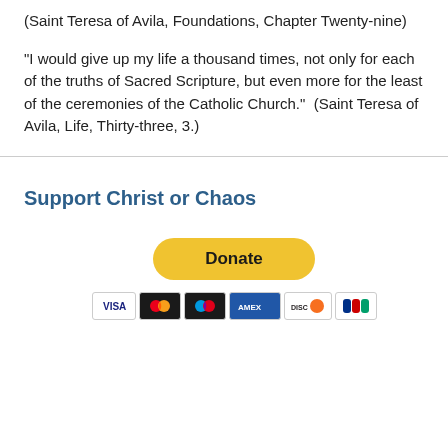(Saint Teresa of Avila, Foundations, Chapter Twenty-nine)
"I would give up my life a thousand times, not only for each of the truths of Sacred Scripture, but even more for the least of the ceremonies of the Catholic Church."  (Saint Teresa of Avila, Life, Thirty-three, 3.)
Support Christ or Chaos
[Figure (other): PayPal Donate button followed by payment method icons (Visa, Mastercard, Maestro, American Express, Discover, JCB)]